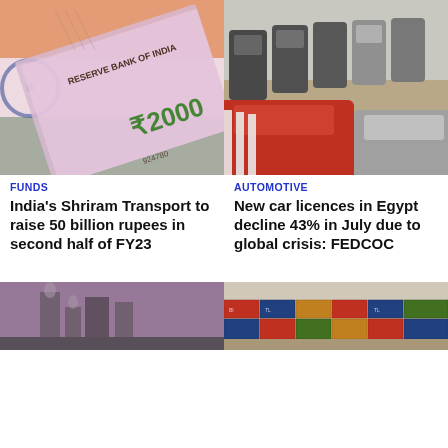[Figure (photo): Indian Rupee 2000 note with Reserve Bank of India text visible, placed on Indian flag]
[Figure (photo): Row of cars parked in a lot in Egypt, automotive dealership scene]
FUNDS
India's Shriram Transport to raise 50 billion rupees in second half of FY23
AUTOMOTIVE
New car licences in Egypt decline 43% in July due to global crisis: FEDCOC
[Figure (photo): Industrial factory or plant, partially visible at bottom of page]
[Figure (photo): Shipping containers stacked at port, partially visible at bottom of page]